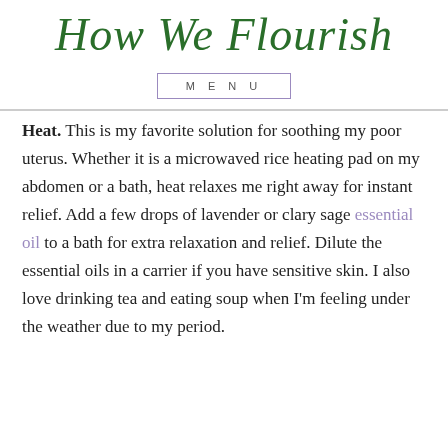How We Flourish
MENU
Heat. This is my favorite solution for soothing my poor uterus. Whether it is a microwaved rice heating pad on my abdomen or a bath, heat relaxes me right away for instant relief. Add a few drops of lavender or clary sage essential oil to a bath for extra relaxation and relief. Dilute the essential oils in a carrier if you have sensitive skin. I also love drinking tea and eating soup when I'm feeling under the weather due to my period.